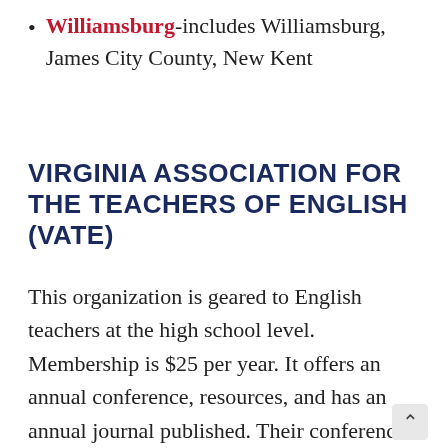Williamsburg-includes Williamsburg, James City County, New Kent
VIRGINIA ASSOCIATION FOR THE TEACHERS OF ENGLISH (VATE)
This organization is geared to English teachers at the high school level. Membership is $25 per year. It offers an annual conference, resources, and has an annual journal published. Their conference is held in October. Click HERE to learn more about VATE.